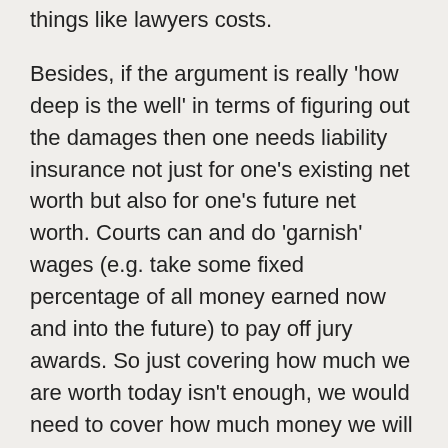things like lawyers costs.
Besides, if the argument is really 'how deep is the well' in terms of figuring out the damages then one needs liability insurance not just for one's existing net worth but also for one's future net worth. Courts can and do 'garnish' wages (e.g. take some fixed percentage of all money earned now and into the future) to pay off jury awards. So just covering how much we are worth today isn't enough, we would need to cover how much money we will make from now until we die.
Of course if the lawyers learn we have umbrella insurance they are likely to sue us for even more so they can drain the umbrella insurance and then move on to our actual assets and earnings. So maybe having umbrella insurance is a bad idea since it could just encourage lawsuits?